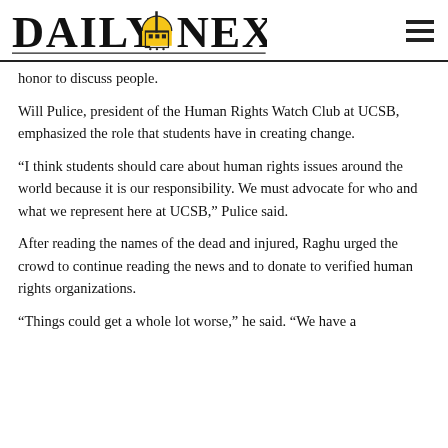Daily Nexus
honor to discuss people.
Will Pulice, president of the Human Rights Watch Club at UCSB, emphasized the role that students have in creating change.
“I think students should care about human rights issues around the world because it is our responsibility. We must advocate for who and what we represent here at UCSB,” Pulice said.
After reading the names of the dead and injured, Raghu urged the crowd to continue reading the news and to donate to verified human rights organizations.
“Things could get a whole lot worse,” he said. “We have a